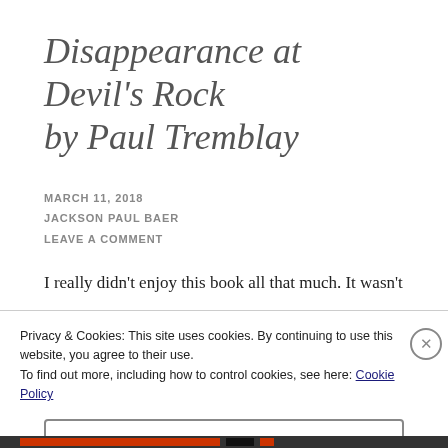Disappearance at Devil's Rock by Paul Tremblay
MARCH 11, 2018
JACKSON PAUL BAER
LEAVE A COMMENT
I really didn't enjoy this book all that much. It wasn't
Privacy & Cookies: This site uses cookies. By continuing to use this website, you agree to their use. To find out more, including how to control cookies, see here: Cookie Policy
Close and accept